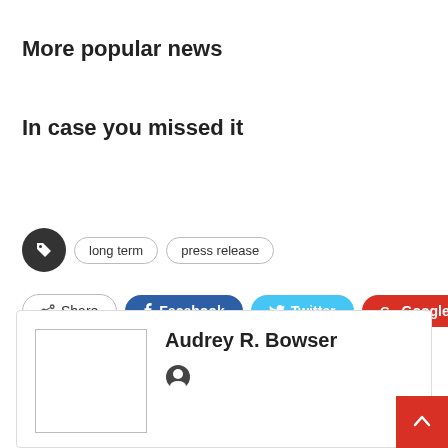More popular news
In case you missed it
long term | press release (tags)
Share | Facebook | Twitter | Google+ | +
Audrey R. Bowser